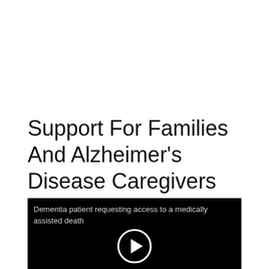Support For Families And Alzheimer's Disease Caregivers
[Figure (other): Video thumbnail showing a black background with subtitle text 'Dementia patient requesting access to a medically assisted death' and a circular play button icon in the center bottom.]